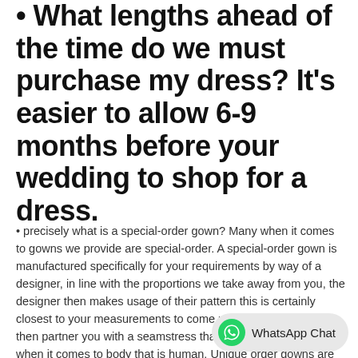• What lengths ahead of the time do we must purchase my dress? It's easier to allow 6-9 months before your wedding to shop for a dress.
• precisely what is a special-order gown? Many when it comes to gowns we provide are special-order. A special-order gown is manufactured specifically for your requirements by way of a designer, in line with the proportions we take away from you, the designer then makes usage of their pattern this is certainly closest to your measurements to come up with your gown. We then partner you with a seamstress that will fit it to perfection when it comes to body that is human. Unique order gowns are non-refundable and never returnable.